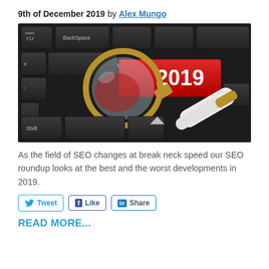9th of December 2019 by Alex Mungo
[Figure (photo): A magnifying glass resting on a keyboard key that reads '2019' in white text on a red background, with other dark keyboard keys visible including Backspace, Insert F12, Shift, and Fn keys.]
As the field of SEO changes at break neck speed our SEO roundup looks at the best and the worst developments in 2019.
Tweet  Like  Share
READ MORE...